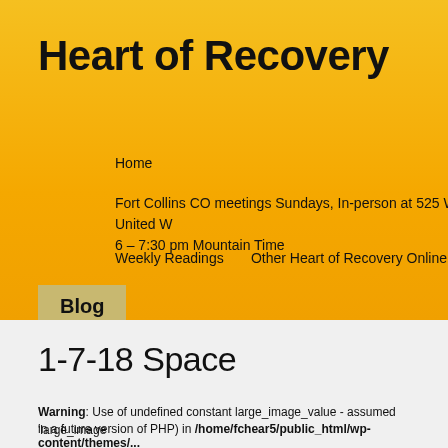Heart of Recovery
Home
Fort Collins CO meetings Sundays, In-person at 525 W. Oak, United W 6 – 7:30 pm Mountain Time
Weekly Readings     Other Heart of Recovery Online Meetings 2020/2
Blog
1-7-18 Space
Warning: Use of undefined constant large_image_value - assumed 'large_image in a future version of PHP) in /home/fchear5/public_html/wp-content/themes/...